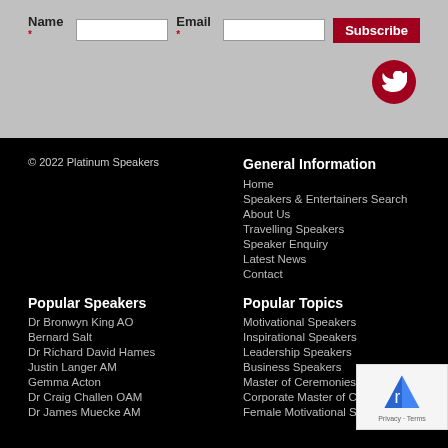Name * [input] Email * [input] Subscribe
[Figure (logo): Twitter bird icon in dark red circle]
© 2022 Platinum Speakers
General Information
Home
Speakers & Entertainers Search
About Us
Travelling Speakers
Speaker Enquiry
Latest News
Contact
Popular Speakers
Dr Bronwyn King AO
Bernard Salt
Dr Richard David Hames
Justin Langer AM
Gemma Acton
Dr Craig Challen OAM
Dr James Muecke AM
Popular Topics
Motivational Speakers
Inspirational Speakers
Leadership Speakers
Business Speakers
Master of Ceremonies
Corporate Master of Ceremonies
Female Motivational Speakers